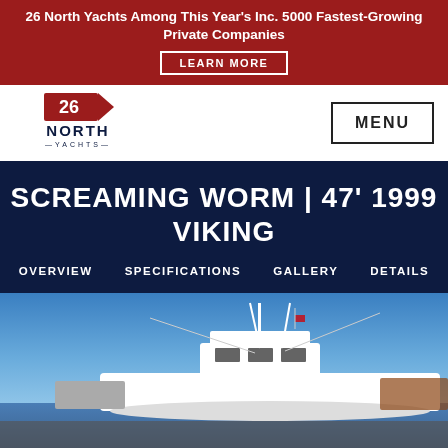26 North Yachts Among This Year's Inc. 5000 Fastest-Growing Private Companies
LEARN MORE
[Figure (logo): 26 North Yachts logo with flag graphic]
MENU
SCREAMING WORM | 47' 1999 VIKING
OVERVIEW   SPECIFICATIONS   GALLERY   DETAILS
[Figure (photo): A white 47-foot 1999 Viking sportfishing yacht named Screaming Worm docked at a marina against a blue sky]